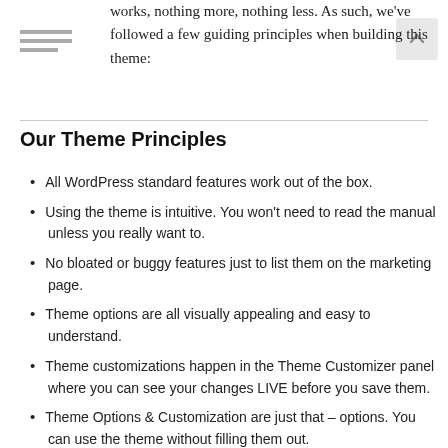works, nothing more, nothing less. As such, we've followed a few guiding principles when building this theme:
Our Theme Principles
All WordPress standard features work out of the box.
Using the theme is intuitive. You won't need to read the manual unless you really want to.
No bloated or buggy features just to list them on the marketing page.
Theme options are all visually appealing and easy to understand.
Theme customizations happen in the Theme Customizer panel where you can see your changes LIVE before you save them.
Theme Options & Customization are just that – options. You can use the theme without filling them out.